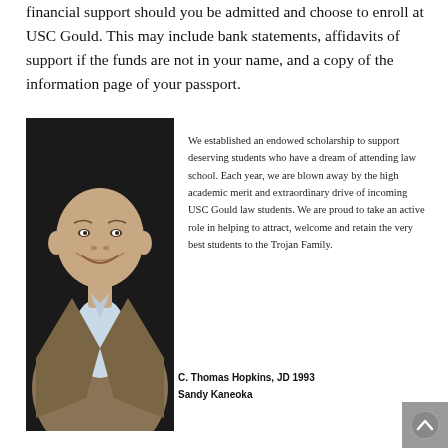financial support should you be admitted and choose to enroll at USC Gould. This may include bank statements, affidavits of support if the funds are not in your name, and a copy of the information page of your passport.
[Figure (photo): Professional headshot of a bald, smiling middle-aged man in a brown/beige checked blazer over a light blue shirt, photographed against a dark background.]
We established an endowed scholarship to support deserving students who have a dream of attending law school. Each year, we are blown away by the high academic merit and extraordinary drive of incoming USC Gould law students. We are proud to take an active role in helping to attract, welcome and retain the very best students to the Trojan Family.
C. Thomas Hopkins, JD 1993
Sandy Kaneoka